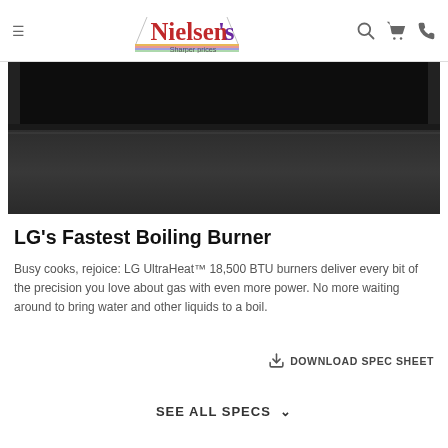Nielsen's — Sharper prices
[Figure (photo): Dark/black appliance product image, showing a stovetop or range with black glass surface and dark drawer panel below]
LG's Fastest Boiling Burner
Busy cooks, rejoice: LG UltraHeat™ 18,500 BTU burners deliver every bit of the precision you love about gas with even more power. No more waiting around to bring water and other liquids to a boil.
DOWNLOAD SPEC SHEET
SEE ALL SPECS